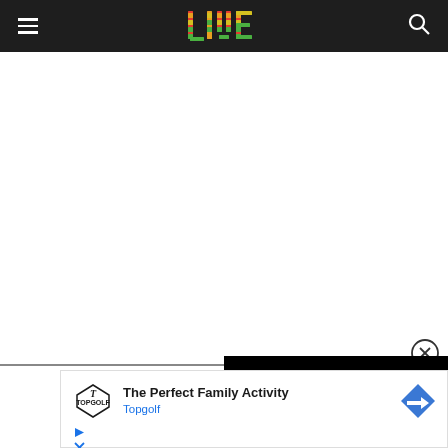LIVE
[Figure (screenshot): White empty content area below navigation bar]
[Figure (screenshot): Close button (X in circle) at top-right of ad overlay, black bar partial overlay]
[Figure (screenshot): Topgolf advertisement: The Perfect Family Activity - Topgolf, with logo and arrow button]